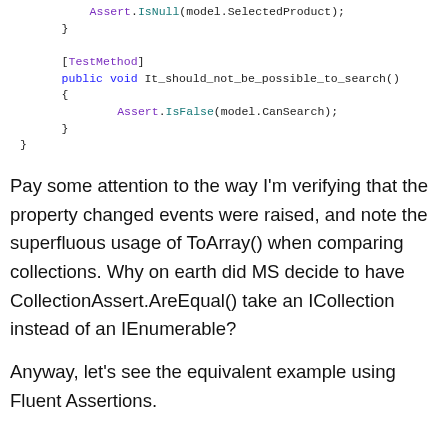Assert.IsNull(model.SelectedProduct);
    }

    [TestMethod]
    public void It_should_not_be_possible_to_search()
    {
        Assert.IsFalse(model.CanSearch);
    }
}
Pay some attention to the way I'm verifying that the property changed events were raised, and note the superfluous usage of ToArray() when comparing collections. Why on earth did MS decide to have CollectionAssert.AreEqual() take an ICollection instead of an IEnumerable?
Anyway, let's see the equivalent example using Fluent Assertions.